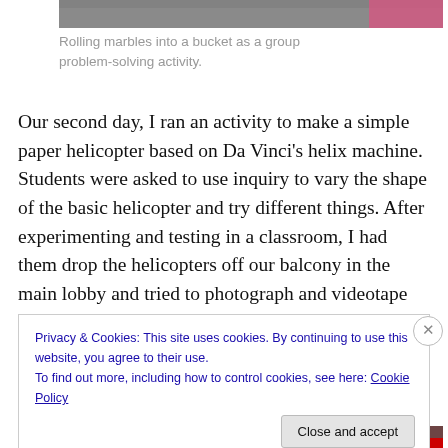[Figure (photo): Partial photo visible at top of page showing students doing an activity]
Rolling marbles into a bucket as a group problem-solving activity.
Our second day, I ran an activity to make a simple paper helicopter based on Da Vinci's helix machine. Students were asked to use inquiry to vary the shape of the basic helicopter and try different things. After experimenting and testing in a classroom, I had them drop the helicopters off our balcony in the main lobby and tried to photograph and videotape the results.
Privacy & Cookies: This site uses cookies. By continuing to use this website, you agree to their use.
To find out more, including how to control cookies, see here: Cookie Policy
[Figure (photo): Partial photo visible at bottom of page with red banner, partially obscured by cookie banner]